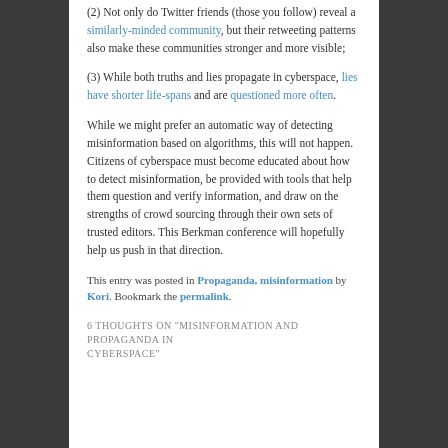(2) Not only do Twitter friends (those you follow) reveal a similarly-minded community, but their retweeting patterns also make these communities stronger and more visible;
(3) While both truths and lies propagate in cyberspace, lies have shorter life-spans and are questioned more often.
While we might prefer an automatic way of detecting misinformation based on algorithms, this will not happen. Citizens of cyberspace must become educated about how to detect misinformation, be provided with tools that help them question and verify information, and draw on the strengths of crowd sourcing through their own sets of trusted editors. This Berkman conference will hopefully help us push in that direction.
This entry was posted in Propaganda, misinformation by Kori. Bookmark the permalink.
6 THOUGHTS ON "MISINFORMATION AND PROPAGANDA IN CYBERSPACE"